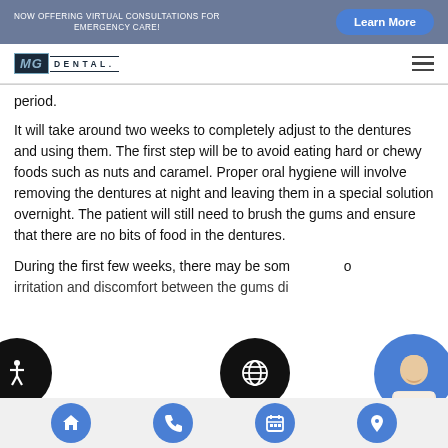NOW OFFERING VIRTUAL CONSULTATIONS FOR EMERGENCY CARE! Learn More
[Figure (logo): MG Dental logo with hamburger menu icon]
period.
It will take around two weeks to completely adjust to the dentures and using them. The first step will be to avoid eating hard or chewy foods such as nuts and caramel. Proper oral hygiene will involve removing the dentures at night and leaving them in a special solution overnight. The patient will still need to brush the gums and ensure that there are no bits of food in the dentures.
During the first few weeks, there may be some irritation and discomfort between the gums
Home Phone Calendar Location navigation buttons